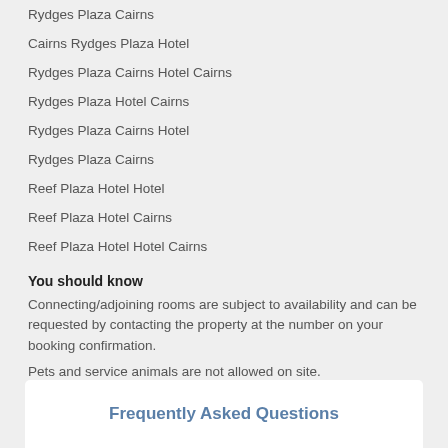Rydges Plaza Cairns
Cairns Rydges Plaza Hotel
Rydges Plaza Cairns Hotel Cairns
Rydges Plaza Hotel Cairns
Rydges Plaza Cairns Hotel
Rydges Plaza Cairns
Reef Plaza Hotel Hotel
Reef Plaza Hotel Cairns
Reef Plaza Hotel Hotel Cairns
You should know
Connecting/adjoining rooms are subject to availability and can be requested by contacting the property at the number on your booking confirmation.
Pets and service animals are not allowed on site.
Frequently Asked Questions